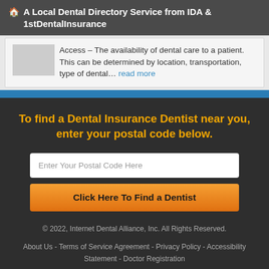A Local Dental Directory Service from IDA & 1stDentalInsurance
Access – The availability of dental care to a patient. This can be determined by location, transportation, type of dental… read more
To find a Dental Insurance Dentist near you, enter your postal code below.
Enter Your Postal Code Here
Click Here To Find a Dentist
© 2022, Internet Dental Alliance, Inc. All Rights Reserved.
About Us - Terms of Service Agreement - Privacy Policy - Accessibility Statement - Doctor Registration